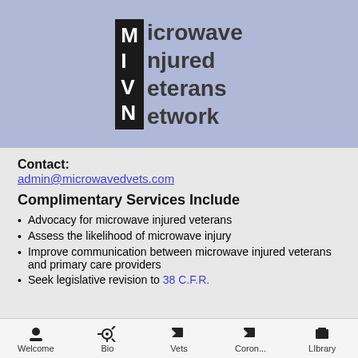[Figure (logo): Microwave Injured Veterans Network logo with black vertical bar showing letters M, I, V, N and words to the right on a blue-grey banner background]
Contact:
admin@microwavedvets.com
Complimentary Services Include
Advocacy for microwave injured veterans
Assess the likelihood of microwave injury
Improve communication between microwave injured veterans and primary care providers
Seek legislative revision to 38 C.F.R.
Est. 4 Million Microwave Injured Veterans in the
Welcome | Bio | Vets | Coron... | LIbrary